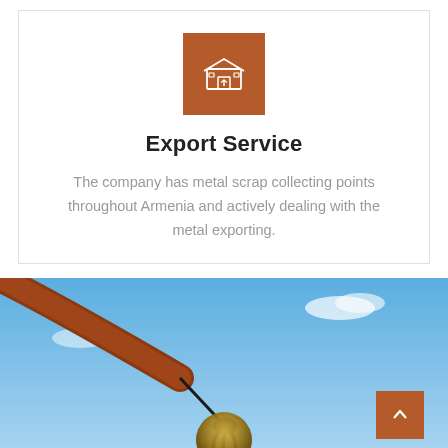[Figure (logo): Orange/brown square icon with a warehouse/export building graphic in white lines]
Export Service
The company has metal scrap collecting points throughout Armenia and actively dealing with the metal exporting.
[Figure (photo): Industrial crane/magnet lifting metallic scrap against a blue sky background]